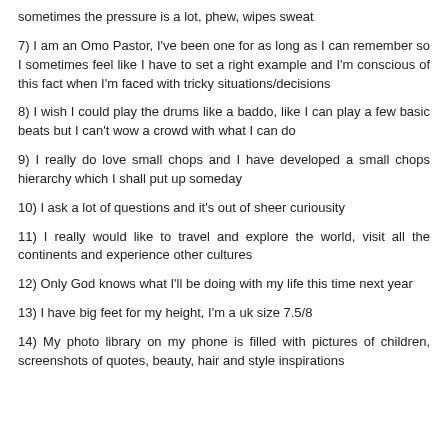sometimes the pressure is a lot, phew, wipes sweat
7) I am an Omo Pastor, I've been one for as long as I can remember so I sometimes feel like I have to set a right example and I'm conscious of this fact when I'm faced with tricky situations/decisions
8) I wish I could play the drums like a baddo, like I can play a few basic beats but I can't wow a crowd with what I can do
9) I really do love small chops and I have developed a small chops hierarchy which I shall put up someday
10) I ask a lot of questions and it's out of sheer curiousity
11) I really would like to travel and explore the world, visit all the continents and experience other cultures
12) Only God knows what I'll be doing with my life this time next year
13) I have big feet for my height, I'm a uk size 7.5/8
14) My photo library on my phone is filled with pictures of children, screenshots of quotes, beauty, hair and style inspirations